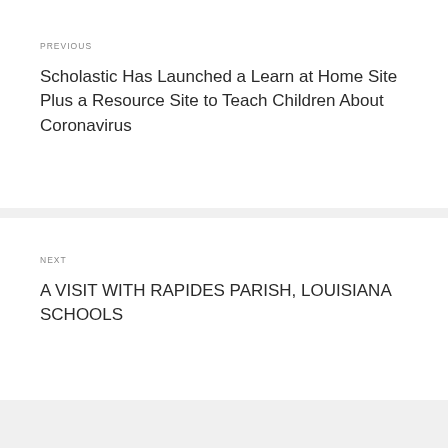PREVIOUS
Scholastic Has Launched a Learn at Home Site Plus a Resource Site to Teach Children About Coronavirus
NEXT
A VISIT WITH RAPIDES PARISH, LOUISIANA SCHOOLS